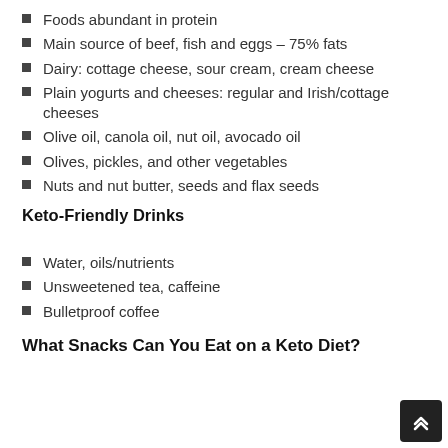Foods abundant in protein
Main source of beef, fish and eggs – 75% fats
Dairy: cottage cheese, sour cream, cream cheese
Plain yogurts and cheeses: regular and Irish/cottage cheeses
Olive oil, canola oil, nut oil, avocado oil
Olives, pickles, and other vegetables
Nuts and nut butter, seeds and flax seeds
Keto-Friendly Drinks
Water, oils/nutrients
Unsweetened tea, caffeine
Bulletproof coffee
What Snacks Can You Eat on a Keto Diet?